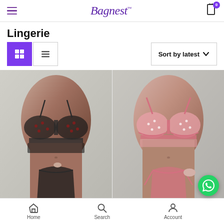Bagnest — Lingerie category page header with hamburger menu and cart icon (0 items)
Lingerie
View toggle buttons (grid active, list) and Sort by latest dropdown
[Figure (photo): Model wearing black sheer polka-dot lingerie set (bra and thong) on grey background]
[Figure (photo): Model wearing pink satin and sheer pearl-dotted lingerie set (bra and thong) on grey background]
Home | Search | Account